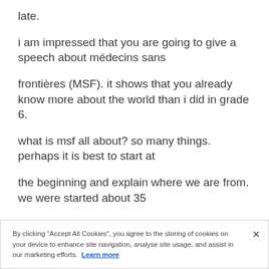late.
i am impressed that you are going to give a speech about médecins sans
frontières (MSF). it shows that you already know more about the world than i did in grade 6.
what is msf all about? so many things. perhaps it is best to start at
the beginning and explain where we are from. we were started about 35
years ago by a group of doctors and journalists, some of whom were first
By clicking "Accept All Cookies", you agree to the storing of cookies on your device to enhance site navigation, analyse site usage, and assist in our marketing efforts. Learn more